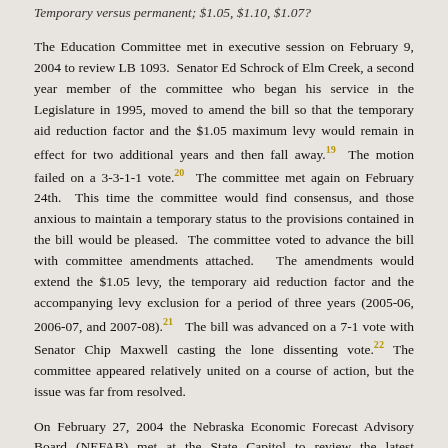Temporary versus permanent; $1.05, $1.10, $1.07?
The Education Committee met in executive session on February 9, 2004 to review LB 1093. Senator Ed Schrock of Elm Creek, a second year member of the committee who began his service in the Legislature in 1995, moved to amend the bill so that the temporary aid reduction factor and the $1.05 maximum levy would remain in effect for two additional years and then fall away.19 The motion failed on a 3-3-1-1 vote.20 The committee met again on February 24th. This time the committee would find consensus, and those anxious to maintain a temporary status to the provisions contained in the bill would be pleased. The committee voted to advance the bill with committee amendments attached. The amendments would extend the $1.05 levy, the temporary aid reduction factor and the accompanying levy exclusion for a period of three years (2005-06, 2006-07, and 2007-08).21 The bill was advanced on a 7-1 vote with Senator Chip Maxwell casting the lone dissenting vote.22 The committee appeared relatively united on a course of action, but the issue was far from resolved.
On February 27, 2004 the Nebraska Economic Forecast Advisory Board (NEFAB) met at the State Capitol to review the latest economic reports and revise, if necessary, the State's revenue projections. The board not only found it necessary, but necessary in a big way. The nine-member appointed board is comprised of citizens having expertise in tax policy, economics, or economic forecasting. One of the board's principal duties is to make educated guesses about the immediate future of tax revenue